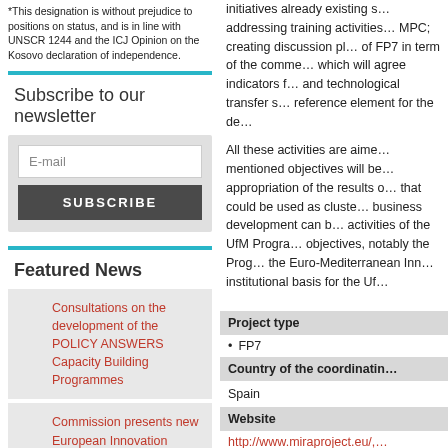*This designation is without prejudice to positions on status, and is in line with UNSCR 1244 and the ICJ Opinion on the Kosovo declaration of independence.
Subscribe to our newsletter
E-mail [input field] SUBSCRIBE [button]
Featured News
Consultations on the development of the POLICY ANSWERS Capacity Building Programmes
Commission presents new European Innovation Agenda to spearhead the new innovation wave
initiatives already existing s... addressing training activities... MPC; creating discussion pl... of FP7 in term of the comme... which will agree indicators f... and technological transfer s... reference element for the de...
All these activities are aime... mentioned objectives will be... appropriation of the results o... that could be used as cluste... business development can b... activities of the UfM Progra... objectives, notably the Prog... the Euro-Mediterranean Inn... institutional basis for the Uf...
Project type
FP7
Country of the coordinatin…
Spain
Website
http://www.miraproject.eu/, …